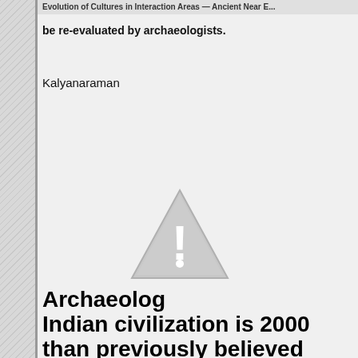Evolution of Cultures in Interaction Areas — Ancient Near E...
be re-evaluated by archaeologists.
Kalyanaraman
[Figure (illustration): Warning triangle icon with exclamation mark, gray colored, indicating a missing or unavailable image]
Archaeolog... Indian civilization is 2000 than previously believed